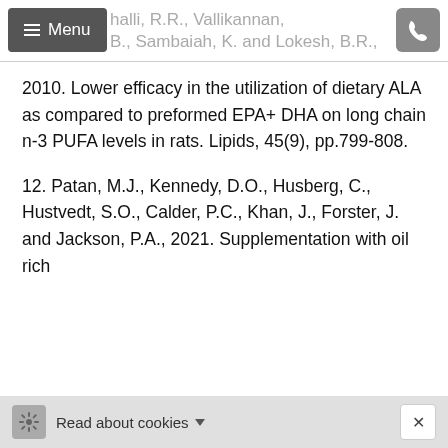halli, R.R., Vallikannan, B., Sambaiah, K. and Lokesh, B.R.,
2010. Lower efficacy in the utilization of dietary ALA as compared to preformed EPA+ DHA on long chain n-3 PUFA levels in rats. Lipids, 45(9), pp.799-808.
12. Patan, M.J., Kennedy, D.O., Husberg, C., Hustvedt, S.O., Calder, P.C., Khan, J., Forster, J. and Jackson, P.A., 2021. Supplementation with oil rich
Read about cookies ▾  ×